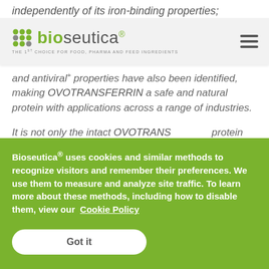independently of its iron-binding properties;
[Figure (logo): Bioseutica logo with green dot grid icon and text 'bioseutica®' with tagline 'THE 1ST CHOICE FOR FOOD, PHARMA AND FEED INGREDIENTS']
and antiviral properties have also been identified, making OVOTRANSFERRIN a safe and natural protein with applications across a range of industries.
It is not only the intact OVOTRANSFERRIN protein that possesses industrially e...
Privacy settings
Bioseutica® uses cookies and similar methods to recognize visitors and remember their preferences. We use them to measure and analyze site traffic. To learn more about these methods, including how to disable them, view our Cookie Policy
Got it